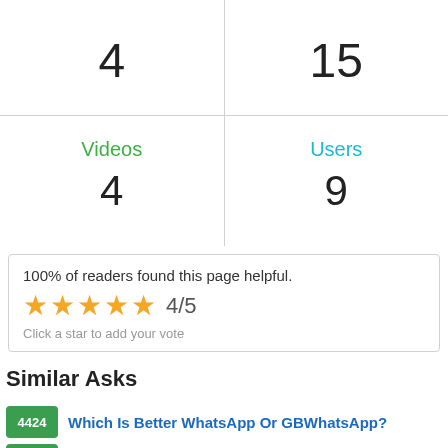| 4 | 15 |
| Videos
4 | Users
9 |
100% of readers found this page helpful.
[Figure (other): 5 gold stars rating display showing 4/5]
Click a star to add your vote
Similar Asks
4424 Which Is Better WhatsApp Or GBWhatsApp?
4403 Gw Whatsapp